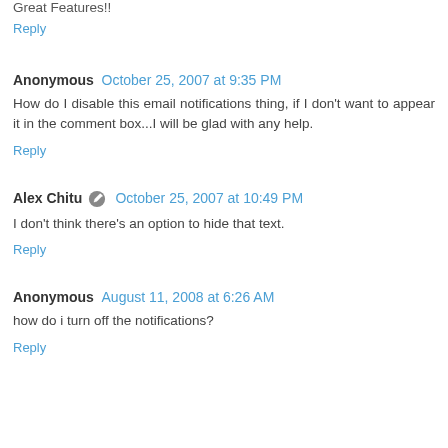Great Features!!
Reply
Anonymous  October 25, 2007 at 9:35 PM
How do I disable this email notifications thing, if I don't want to appear it in the comment box...I will be glad with any help.
Reply
Alex Chitu  October 25, 2007 at 10:49 PM
I don't think there's an option to hide that text.
Reply
Anonymous  August 11, 2008 at 6:26 AM
how do i turn off the notifications?
Reply